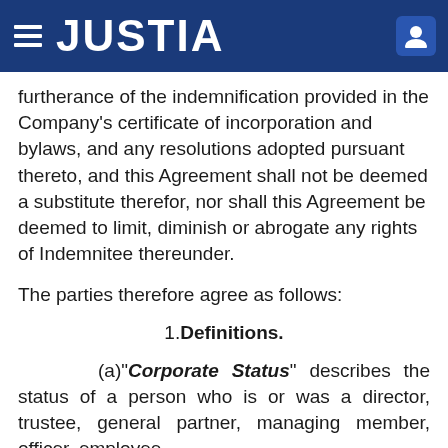JUSTIA
furtherance of the indemnification provided in the Company’s certificate of incorporation and bylaws, and any resolutions adopted pursuant thereto, and this Agreement shall not be deemed a substitute therefor, nor shall this Agreement be deemed to limit, diminish or abrogate any rights of Indemnitee thereunder.
The parties therefore agree as follows:
1. Definitions.
(a)“Corporate Status” describes the status of a person who is or was a director, trustee, general partner, managing member, officer, employee,